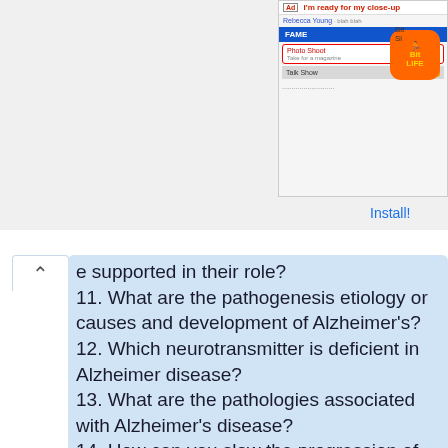[Figure (screenshot): Advertisement banner showing BitLife app install prompt with a social media screenshot]
e supported in their role?
11. What are the pathogenesis etiology or causes and development of Alzheimer's?
12. Which neurotransmitter is deficient in Alzheimer disease?
13. What are the pathologies associated with Alzheimer's disease?
14. How can you slow the progression of Alzheimer's?
15. How do you keep an Alzheimer's patient in bed at night?
16. At what stage do Alzheimer's patients sleep a lot?